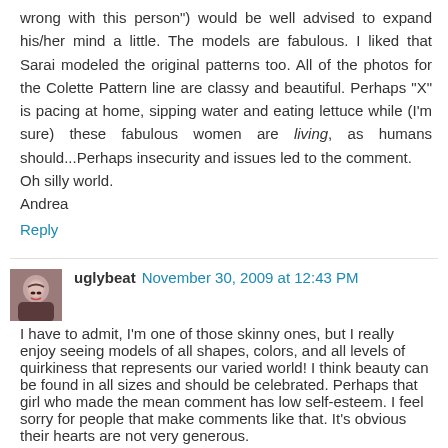wrong with this person") would be well advised to expand his/her mind a little. The models are fabulous. I liked that Sarai modeled the original patterns too. All of the photos for the Colette Pattern line are classy and beautiful. Perhaps "X" is pacing at home, sipping water and eating lettuce while (I'm sure) these fabulous women are living, as humans should...Perhaps insecurity and issues led to the comment.
Oh silly world.
Andrea
Reply
uglybeat November 30, 2009 at 12:43 PM
I have to admit, I'm one of those skinny ones, but I really enjoy seeing models of all shapes, colors, and all levels of quirkiness that represents our varied world! I think beauty can be found in all sizes and should be celebrated. Perhaps that girl who made the mean comment has low self-esteem. I feel sorry for people that make comments like that. It's obvious their hearts are not very generous.